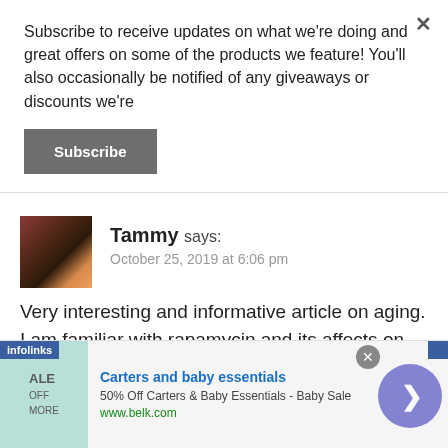Subscribe to receive updates on what we're doing and great offers on some of the products we feature! You'll also occasionally be notified of any giveaways or discounts we're
Subscribe
Tammy says:
October 25, 2019 at 6:06 pm
Very interesting and informative article on aging. I am familiar with rapamycin and its affects on post transplant cancer patients but I was not
[Figure (screenshot): Advertisement banner: Carters and baby essentials - 50% Off Carters & Baby Essentials - Baby Sale - www.belk.com, with a baby image on teal background and a purple circle next-arrow button]